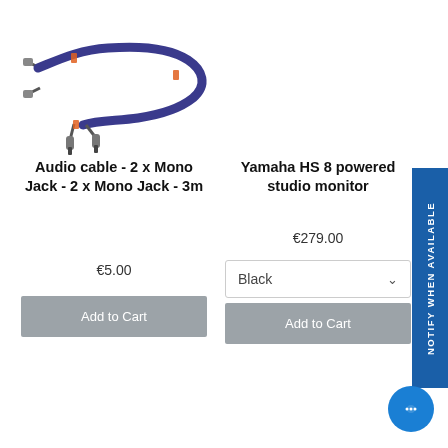[Figure (photo): Blue audio cable with 2x mono jack connectors on each end, coiled on a white background]
Audio cable - 2 x Mono Jack - 2 x Mono Jack - 3m
Yamaha HS 8 powered studio monitor
€279.00
€5.00
Black
Add to Cart
Add to Cart
NOTIFY WHEN AVAILABLE